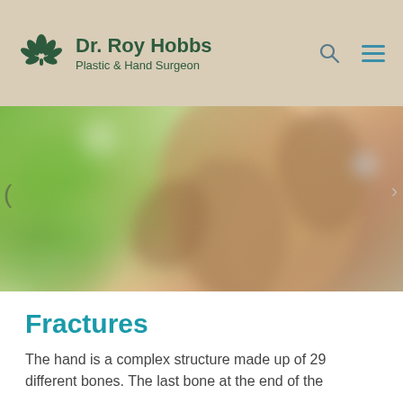Dr. Roy Hobbs Plastic & Hand Surgeon
[Figure (photo): Blurred close-up photo of interlocked hands against a green bokeh background, representing hand surgery.]
Fractures
The hand is a complex structure made up of 29 different bones. The last bone at the end of the